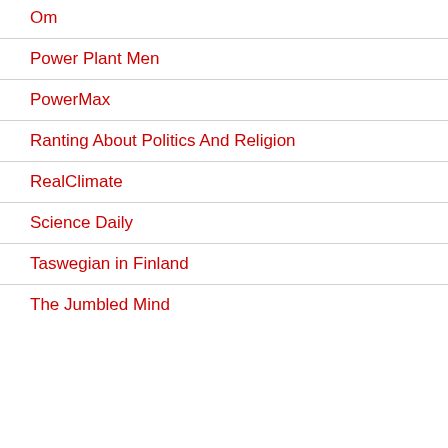Om
Power Plant Men
PowerMax
Ranting About Politics And Religion
RealClimate
Science Daily
Taswegian in Finland
The Jumbled Mind